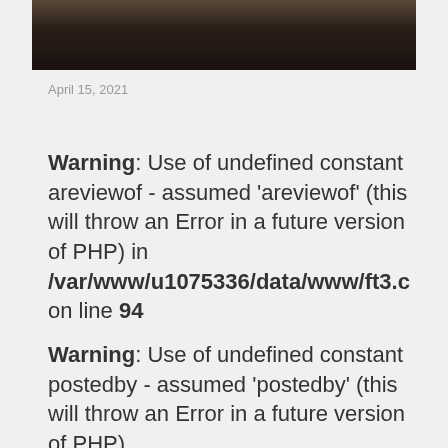[Figure (photo): Dark partial photo strip at top, showing what appears to be clothing or hands in low light]
April 15, 2021
Warning: Use of undefined constant areviewof - assumed 'areviewof' (this will throw an Error in a future version of PHP) in /var/www/u1075336/data/www/ft3.c on line 94
Warning: Use of undefined constant postedby - assumed 'postedby' (this will throw an Error in a future version of PHP)